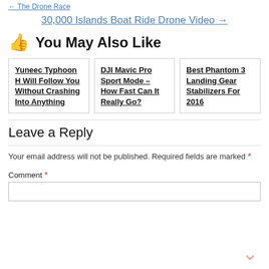← The Drone Race
30,000 Islands Boat Ride Drone Video →
👍 You May Also Like
Yuneec Typhoon H Will Follow You Without Crashing Into Anything
DJI Mavic Pro Sport Mode – How Fast Can It Really Go?
Best Phantom 3 Landing Gear Stabilizers For 2016
Leave a Reply
Your email address will not be published. Required fields are marked *
Comment *